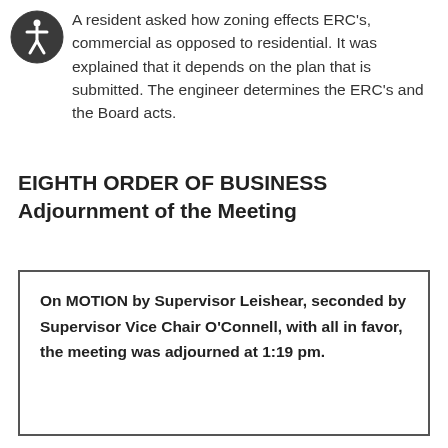A resident asked how zoning effects ERC's, commercial as opposed to residential. It was explained that it depends on the plan that is submitted. The engineer determines the ERC's and the Board acts.
EIGHTH ORDER OF BUSINESS
Adjournment of the Meeting
On MOTION by Supervisor Leishear, seconded by Supervisor Vice Chair O'Connell, with all in favor, the meeting was adjourned at 1:19 pm.